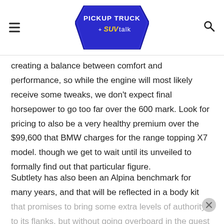PICKUP TRUCK +SUV talk
creating a balance between comfort and performance, so while the engine will most likely receive some tweaks, we don't expect final horsepower to go too far over the 600 mark. Look for pricing to also be a very healthy premium over the $99,600 that BMW charges for the range topping X7 model. though we get to wait until its unveiled to formally find out that particular figure.
Subtlety has also been an Alpina benchmark for many years, and that will be reflected in a body kit that promises to bring some extra levels of authority to its flanks, but without going overboard in the quest